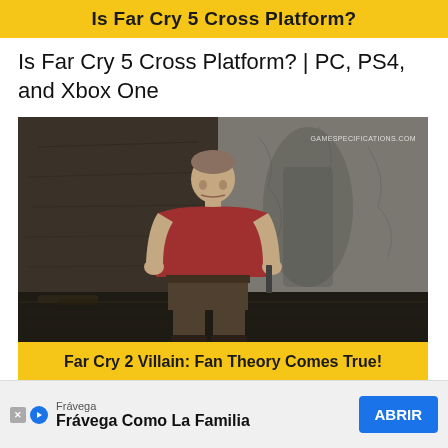Is Far Cry 5 Cross Platform?
Is Far Cry 5 Cross Platform? | PC, PS4, and Xbox One
[Figure (screenshot): Screenshot from Far Cry 2 showing a character in a dimly lit stone room, wearing a red t-shirt. Watermark reads GAMESPECIFICATIONS.COM. Yellow banner below reads: Far Cry 2 Villain: Fan Theory Comes True!]
Far Cry 2 Villain: Fan Theory Comes True!
Far Cry 2 Villain: Fan Theory Comes True!
Frávega Como La Familia